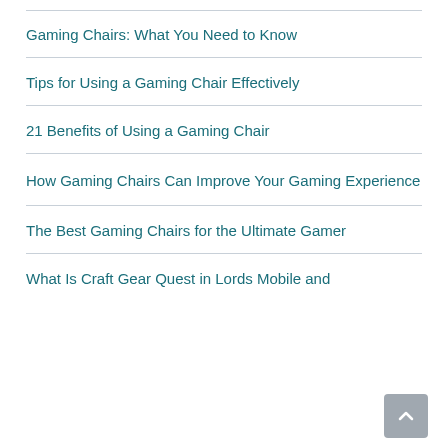Gaming Chairs: What You Need to Know
Tips for Using a Gaming Chair Effectively
21 Benefits of Using a Gaming Chair
How Gaming Chairs Can Improve Your Gaming Experience
The Best Gaming Chairs for the Ultimate Gamer
What Is Craft Gear Quest in Lords Mobile and